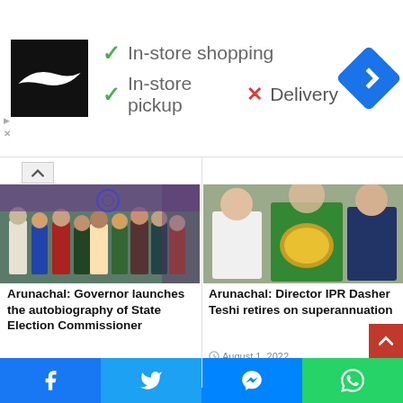[Figure (infographic): Nike store ad banner with logo, green checkmarks for In-store shopping and In-store pickup, red X for Delivery, and Google Maps navigation icon]
[Figure (photo): Group of people in traditional attire at an indoor event with Ashoka Chakra emblem visible]
Arunachal: Governor launches the autobiography of State Election Commissioner
August 2, 2022
[Figure (photo): Three people, one in green vest holding an award plaque]
Arunachal: Director IPR Dasher Teshi retires on superannuation
August 1, 2022
[Figure (photo): Large group of people standing outside a building]
[Figure (photo): People standing under bamboo structure outdoors]